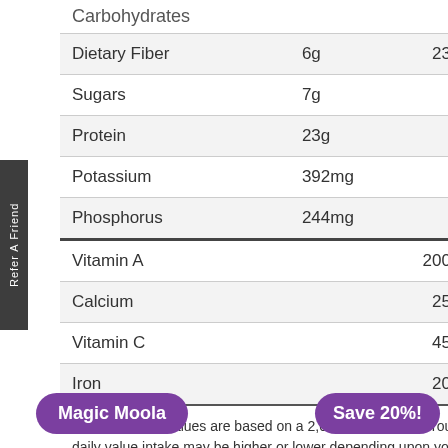| Nutrient | Amount | % Daily Value |
| --- | --- | --- |
| Carbohydrates |  |  |
| Dietary Fiber | 6g | 23% |
| Sugars | 7g |  |
| Protein | 23g |  |
| Potassium | 392mg |  |
| Phosphorus | 244mg |  |
| Vitamin A |  | 200% |
| Calcium |  | 25% |
| Vitamin C |  | 45% |
| Iron |  | 20% |
*Percent Daily Values are based on a 2,000 calories diet. Your daily value intake may be higher or lower depending upon your caloric needs.